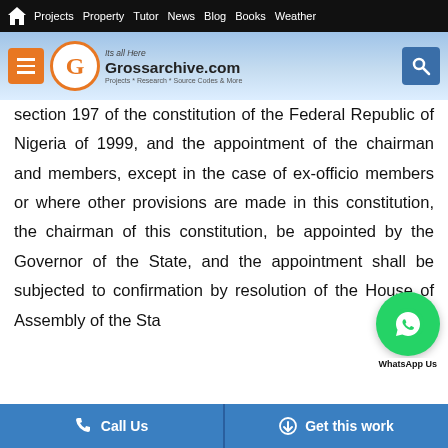Projects | Property | Tutor | News | Blog | Books | Weather
[Figure (logo): Grossarchive.com logo with menu button, circular G logo, site name and tagline, and search button]
section 197 of the constitution of the Federal Republic of Nigeria of 1999, and the appointment of the chairman and members, except in the case of ex-officio members or where other provisions are made in this constitution, the chairman of this constitution, be appointed by the Governor of the State, and the appointment shall be subjected to confirmation by resolution of the House of Assembly of the Sta
Call Us | Get this work